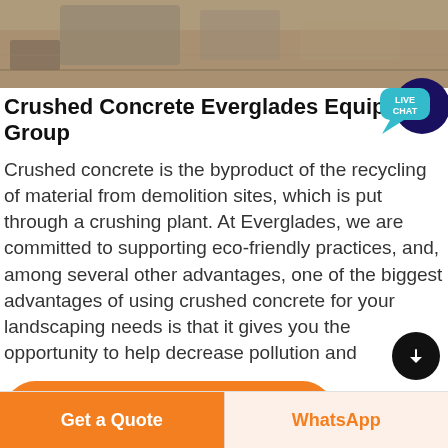[Figure (photo): Construction site with crushed concrete and demolition materials, partially visible at top of page]
Crushed Concrete Everglades Equipment Group
Crushed concrete is the byproduct of the recycling of material from demolition sites, which is put through a crushing plant. At Everglades, we are committed to supporting eco-friendly practices, and, among several other advantages, one of the biggest advantages of using crushed concrete for your landscaping needs is that it gives you the opportunity to help decrease pollution and
[Figure (infographic): Live Chat speech bubble icon with teal bubble labelled LIVE CHAT and dark navy chat icon behind]
Get Price
Get a Quote
WhatsApp